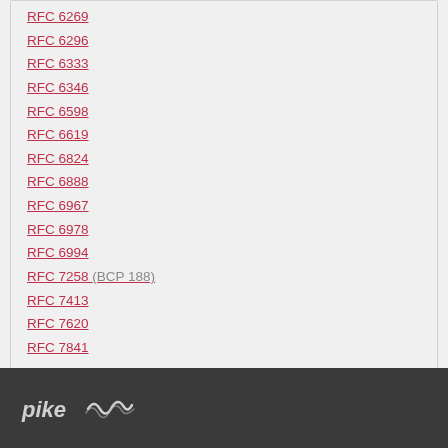RFC 6269
RFC 6296
RFC 6333
RFC 6346
RFC 6598
RFC 6619
RFC 6824
RFC 6888
RFC 6967
RFC 6978
RFC 6994
RFC 7258 (BCP 188)
RFC 7413
RFC 7620
RFC 7841
Referenced by
RFC 8517
pike